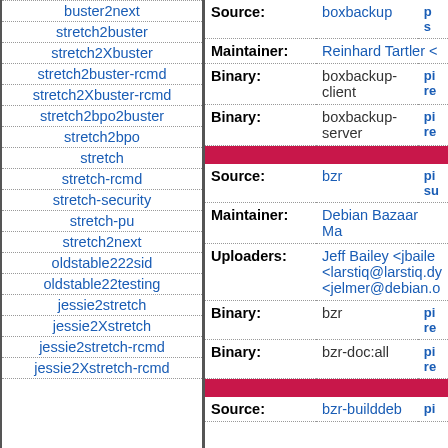| Navigation items |
| --- |
| buster2next |
| stretch2buster |
| stretch2Xbuster |
| stretch2buster-rcmd |
| stretch2Xbuster-rcmd |
| stretch2bpo2buster |
| stretch2bpo |
| stretch |
| stretch-rcmd |
| stretch-security |
| stretch-pu |
| stretch2next |
| oldstable222sid |
| oldstable22testing |
| jessie2stretch |
| jessie2Xstretch |
| jessie2stretch-rcmd |
| jessie2Xstretch-rcmd |
| Field | Value | Extra |
| --- | --- | --- |
| Source: | boxbackup |  |
| Maintainer: | Reinhard Tartler < |  |
| Binary: | boxbackup-client | pi re |
| Binary: | boxbackup-server | pi re |
| Source: | bzr | pi su |
| Maintainer: | Debian Bazaar Ma |  |
| Uploaders: | Jeff Bailey <jbaile
<larstiq@larstiq.dy
<jelmer@debian.o |  |
| Binary: | bzr | pi re |
| Binary: | bzr-doc:all | pi re |
| Source: | bzr-builddeb | pi |